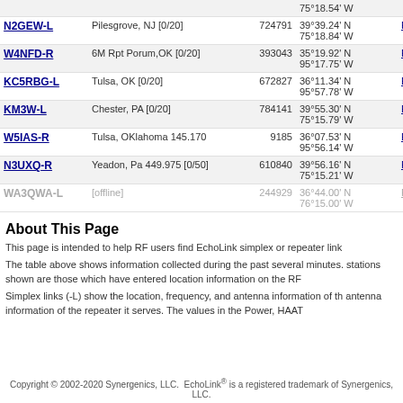| Callsign | Location | Node ID | Coordinates | Grid |
| --- | --- | --- | --- | --- |
|  |  |  | 75°18.54' W |  |
| N2GEW-L | Pilesgrove, NJ [0/20] | 724791 | 39°39.24' N 75°18.84' W | FM29ip |
| W4NFD-R | 6M Rpt Porum,OK [0/20] | 393043 | 35°19.92' N 95°17.75' W | FM25ih |
| KC5RBG-L | Tulsa, OK [0/20] | 672827 | 36°11.34' N 95°57.78' W | EM26ae |
| KM3W-L | Chester, PA [0/20] | 784141 | 39°55.30' N 75°15.79' W | FM29iw |
| W5IAS-R | Tulsa, OKlahoma 145.170 | 9185 | 36°07.53' N 95°56.14' W | EM26ad |
| N3UXQ-R | Yeadon, Pa 449.975 [0/50] | 610840 | 39°56.16' N 75°15.21' W | FM29iw |
| WA3QWA-L [offline] | [offline] | 244929 | 36°44.00' N 76°15.00' W | FM16vr |
About This Page
This page is intended to help RF users find EchoLink simplex or repeater link
The table above shows information collected during the past several minutes. The stations shown are those which have entered location information on the RF
Simplex links (-L) show the location, frequency, and antenna information of the antenna information of the repeater it serves. The values in the Power, HAAT
Copyright © 2002-2020 Synergenics, LLC.  EchoLink® is a registered trademark of Synergenics, LLC.